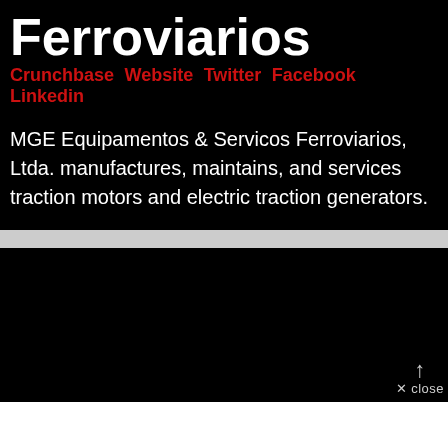Ferroviarios
Crunchbase Website Twitter Facebook Linkedin
MGE Equipamentos & Servicos Ferroviarios, Ltda. manufactures, maintains, and services traction motors and electric traction generators.
[Figure (screenshot): Black rectangle representing a media/video embed area at the bottom of the page]
↑ close